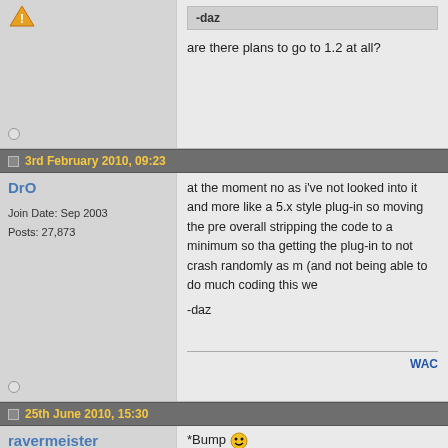-daz
are there plans to go to 1.2 at all?
3rd February 2010, 09:23
DrO
Join Date: Sep 2003
Posts: 27,873
at the moment no as i've not looked into it and more like a 5.x style plug-in so moving the pre overall stripping the code to a minimum so tha getting the plug-in to not crash randomly as m (and not being able to do much coding this we

-daz
WAC
25th June 2010, 15:30
ravermeister
Senior Member
*Bump 🙂